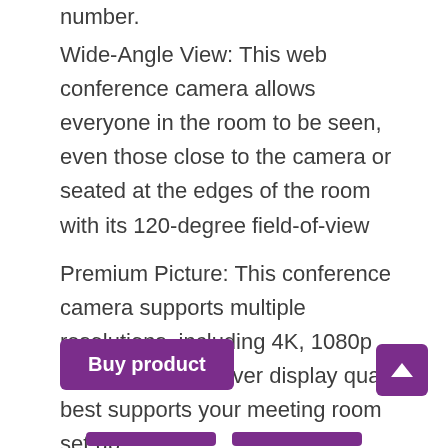number.
Wide-Angle View: This web conference camera allows everyone in the room to be seen, even those close to the camera or seated at the edges of the room with its 120-degree field-of-view
Premium Picture: This conference camera supports multiple resolutions, including 4K, 1080p and 720p, whichever display quality best supports your meeting room set up